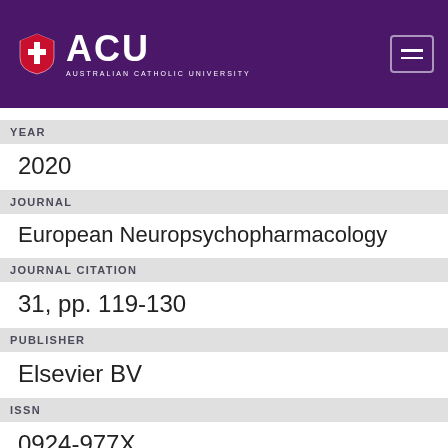ACU AUSTRALIAN CATHOLIC UNIVERSITY
YEAR
2020
JOURNAL
European Neuropsychopharmacology
JOURNAL CITATION
31, pp. 119-130
PUBLISHER
Elsevier BV
ISSN
0924-977X
DIGITAL OBJECT IDENTIFIER (DOI)